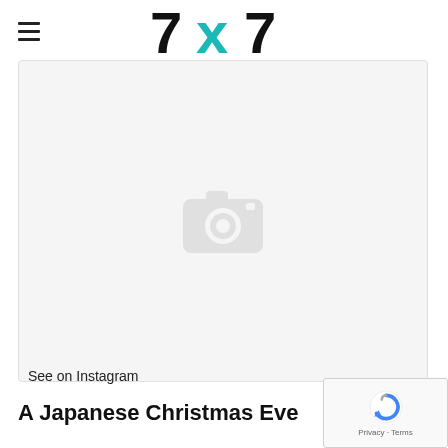7x7 (logo with hamburger menu)
[Figure (screenshot): Instagram embed placeholder — light grey card with camera icon placeholder centered]
See on Instagram
A Japanese Christmas Eve
[Figure (other): reCAPTCHA privacy badge — Google reCAPTCHA icon with 'Privacy · Terms' text]